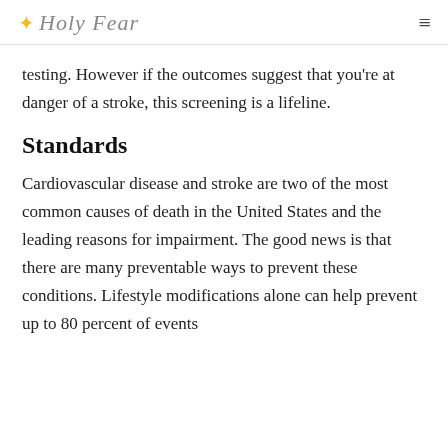✦ Holy Fear
testing. However if the outcomes suggest that you're at danger of a stroke, this screening is a lifeline.
Standards
Cardiovascular disease and stroke are two of the most common causes of death in the United States and the leading reasons for impairment. The good news is that there are many preventable ways to prevent these conditions. Lifestyle modifications alone can help prevent up to 80 percent of events